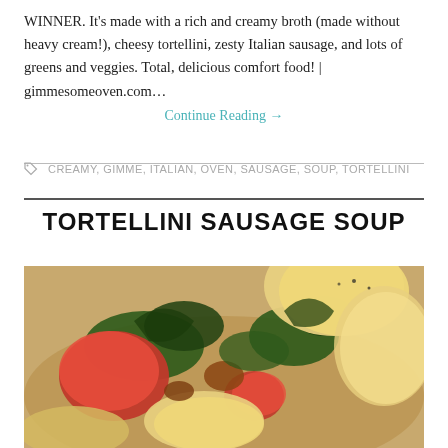WINNER. It's made with a rich and creamy broth (made without heavy cream!), cheesy tortellini, zesty Italian sausage, and lots of greens and veggies. Total, delicious comfort food! | gimmesomeoven.com…
Continue Reading →
CREAMY, GIMME, ITALIAN, OVEN, SAUSAGE, SOUP, TORTELLINI
TORTELLINI SAUSAGE SOUP
[Figure (photo): Close-up photo of tortellini sausage soup in a bowl with tomatoes, kale greens, tortellini pasta pieces, and broth visible]